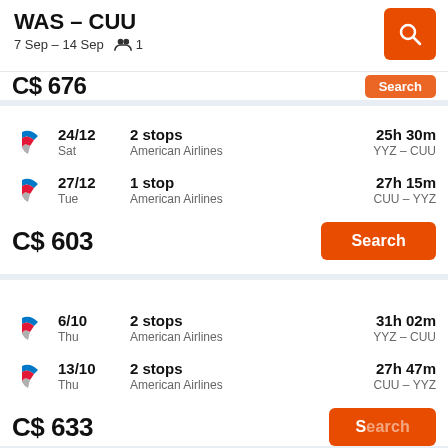WAS – CUU  7 Sep – 14 Sep  1 passenger
C$ 676 (partial, cut off)
24/12 Sat | 2 stops American Airlines | 25h 30m YYZ – CUU
27/12 Tue | 1 stop American Airlines | 27h 15m CUU – YYZ
C$ 603
6/10 Thu | 2 stops American Airlines | 31h 02m YYZ – CUU
13/10 Thu | 2 stops American Airlines | 27h 47m CUU – YYZ
C$ 633